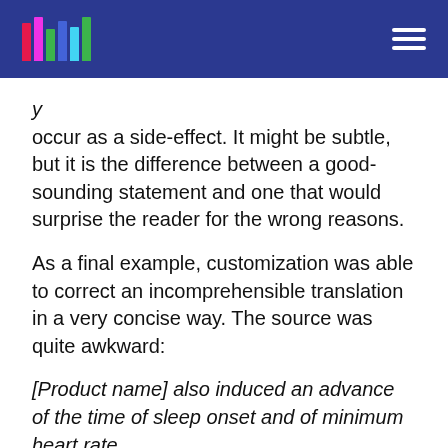y occur as a side-effect. It might be subtle, but it is the difference between a good-sounding statement and one that would surprise the reader for the wrong reasons.
As a final example, customization was able to correct an incomprehensible translation in a very concise way. The source was quite awkward:
[Product name] also induced an advance of the time of sleep onset and of minimum heart rate.
The uncustomized translation was: